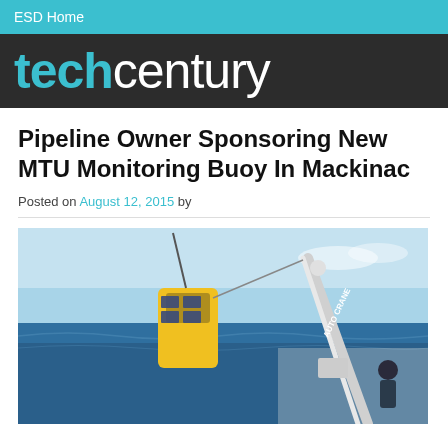ESD Home
techcentury
Pipeline Owner Sponsoring New MTU Monitoring Buoy In Mackinac
Posted on August 12, 2015 by
[Figure (photo): A yellow monitoring buoy being deployed from a boat with a crane arm visible, set against blue ocean water and sky. Text AUTO CRANE visible on the crane arm.]